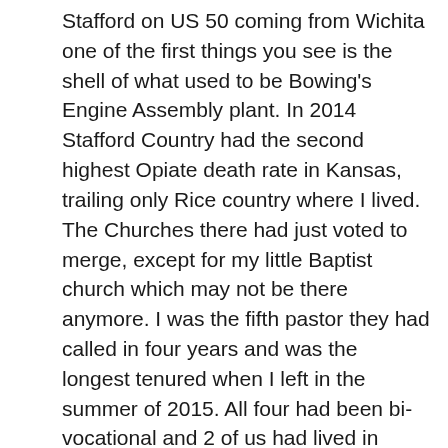Stafford on US 50 coming from Wichita one of the first things you see is the shell of what used to be Bowing's Engine Assembly plant. In 2014 Stafford Country had the second highest Opiate death rate in Kansas, trailing only Rice country where I lived. The Churches there had just voted to merge, except for my little Baptist church which may not be there anymore. I was the fifth pastor they had called in four years and was the longest tenured when I left in the summer of 2015. All four had been bi-vocational and 2 of us had lived in other towns and commuted in because we had to live where there were jobs. I was working for Sterling College's maintenance department at the time, which for a single college graduate was a good gig. I tried to explain this picture to my classmates at Gordon-Conwell during a session of Dr. Price's Project of Reconciliation after the 2016 election. I understood the grievances of the Midwest, and even shared many of them, but I did not